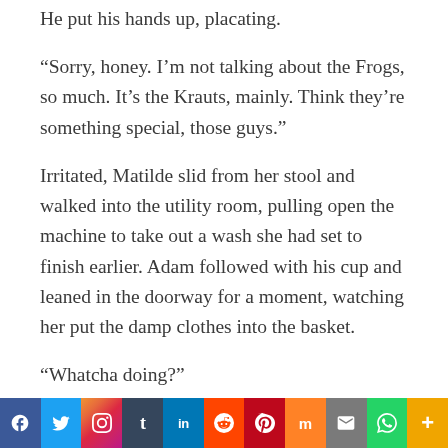He put his hands up, placating.
“Sorry, honey. I’m not talking about the Frogs, so much. It’s the Krauts, mainly. Think they’re something special, those guys.”
Irritated, Matilde slid from her stool and walked into the utility room, pulling open the machine to take out a wash she had set to finish earlier. Adam followed with his cup and leaned in the doorway for a moment, watching her put the damp clothes into the basket.
“Whatcha doing?”